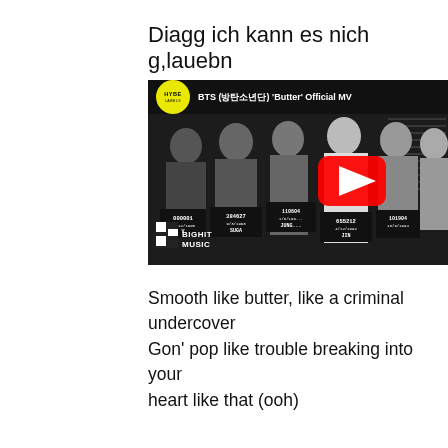Diagg ich kann es nich g,lauebn
[Figure (screenshot): YouTube video thumbnail for BTS (방탄소년단) 'Butter' Official MV by HYBE LABELS. Shows BTS members in black-and-white mugshot style photo, each holding a placard with numbers and names. BIGHIT MUSIC logo visible. YouTube play button overlay in red.]
Smooth like butter, like a criminal undercover
Gon' pop like trouble breaking into your heart like that (ooh)